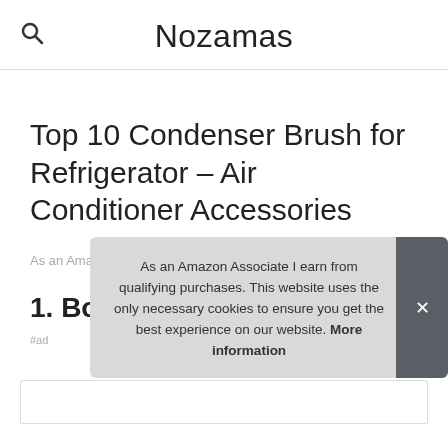Nozamas
Top 10 Condenser Brush for Refrigerator – Air Conditioner Accessories
As an Amazon Associate I earn from qualifying purchases.
1. Bose
#ad
As an Amazon Associate I earn from qualifying purchases. This website uses the only necessary cookies to ensure you get the best experience on our website. More information